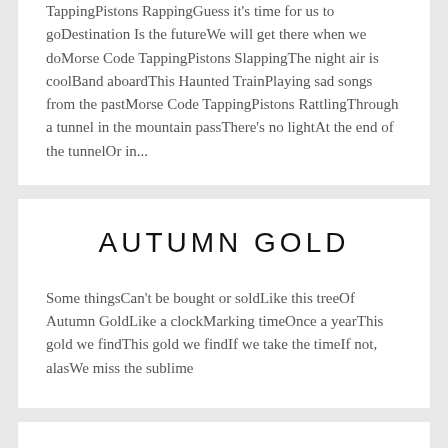TappingPistons RappingGuess it's time for us to goDestination Is the futureWe will get there when we doMorse Code TappingPistons SlappingThe night air is coolBand aboardThis Haunted TrainPlaying sad songs from the pastMorse Code TappingPistons RattlingThrough a tunnel in the mountain passThere's no lightAt the end of the tunnelOr in...
AUTUMN GOLD
Some thingsCan't be bought or soldLike this treeOf Autumn GoldLike a clockMarking timeOnce a yearThis gold we findThis gold we findIf we take the timeIf not, alasWe miss the sublime